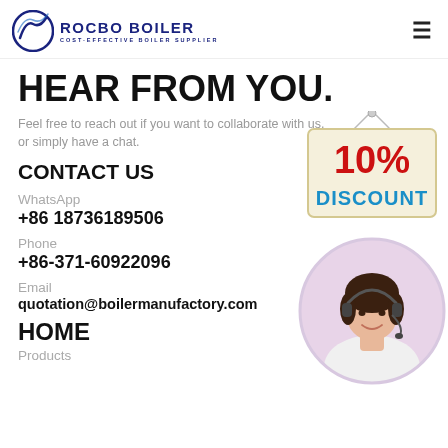ROCBO BOILER — COST-EFFECTIVE BOILER SUPPLIER
HEAR FROM YOU.
Feel free to reach out if you want to collaborate with us, or simply have a chat.
CONTACT US
WhatsApp
+86 18736189506
Phone
+86-371-60922096
Email
quotation@boilermanufactory.com
[Figure (illustration): 10% DISCOUNT sign — a hanging wooden sign with red '10%' text and blue 'DISCOUNT' text]
[Figure (photo): Customer service agent — young woman with headset smiling, circular crop]
HOME
Products